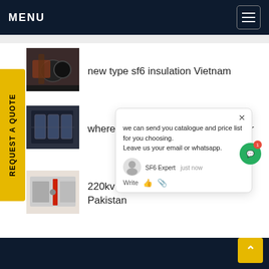MENU
new type sf6 insulation Vietnam
where to buy 33kv sf6 circuit breaker
220kv alstom sf6 circuit breaker Pakistan
we can send you catalogue and price list for you choosing. Leave us your email or whatsapp.
SF6 Expert   just now
Write
REQUEST A QUOTE